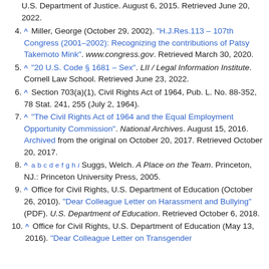(continuation) U.S. Department of Justice. August 6, 2015. Retrieved June 20, 2022.
4. ^ Miller, George (October 29, 2002). "H.J.Res.113 – 107th Congress (2001–2002): Recognizing the contributions of Patsy Takemoto Mink". www.congress.gov. Retrieved March 30, 2020.
5. ^ "20 U.S. Code § 1681 – Sex". LII / Legal Information Institute. Cornell Law School. Retrieved June 23, 2022.
6. ^ Section 703(a)(1), Civil Rights Act of 1964, Pub. L. No. 88-352, 78 Stat. 241, 255 (July 2, 1964).
7. ^ "The Civil Rights Act of 1964 and the Equal Employment Opportunity Commission". National Archives. August 15, 2016. Archived from the original on October 20, 2017. Retrieved October 20, 2017.
8. ^ a b c d e f g h i Suggs, Welch. A Place on the Team. Princeton, NJ.: Princeton University Press, 2005.
9. ^ Office for Civil Rights, U.S. Department of Education (October 26, 2010). "Dear Colleague Letter on Harassment and Bullying" (PDF). U.S. Department of Education. Retrieved October 6, 2018.
10. ^ Office for Civil Rights, U.S. Department of Education (May 13, 2016). "Dear Colleague Letter on Transgender..."